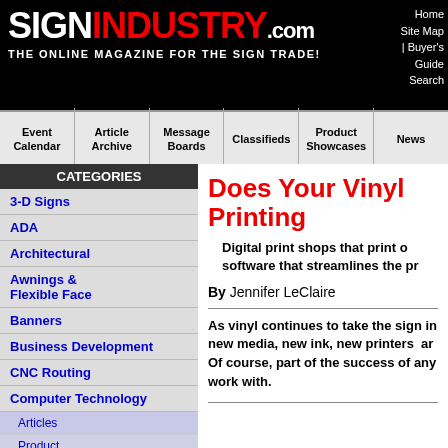SIGNINDUSTRY.COM THE ONLINE MAGAZINE FOR THE SIGN TRADE!
Home | Site Map | Buyer's Guide | Search
Event Calendar | Article Archive | Message Boards | Classifieds | Product Showcases | News
CATEGORIES
3-D Signs
ADA
Architectural
Awnings & Flexible Face
Banners
Business Development
CNC Routing
Computer Technology
Articles
Product Showcase
Message Board
Tips & Tricks
Digital Imaging
Dynamic Digital
Electric
Does Your Vinyl Printing
Digital print shops that print on software that streamlines the pr
By Jennifer LeClaire
As vinyl continues to take the sign industry by storm, manufacturers are introducing new media, new ink, new printers and new software to help print shops stay competitive. Of course, part of the success of any digital print shop depends on the software it uses to work with.